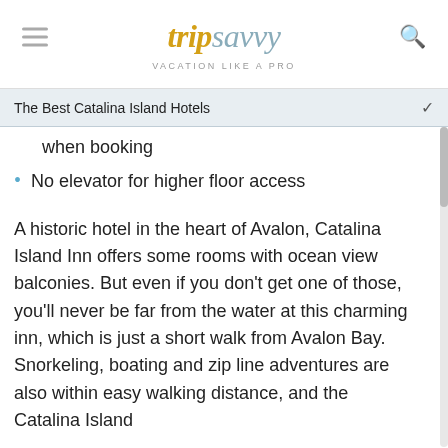trip savvy — VACATION LIKE A PRO
The Best Catalina Island Hotels
when booking
No elevator for higher floor access
A historic hotel in the heart of Avalon, Catalina Island Inn offers some rooms with ocean view balconies. But even if you don't get one of those, you'll never be far from the water at this charming inn, which is just a short walk from Avalon Bay. Snorkeling, boating and zip line adventures are also within easy walking distance, and the Catalina Island